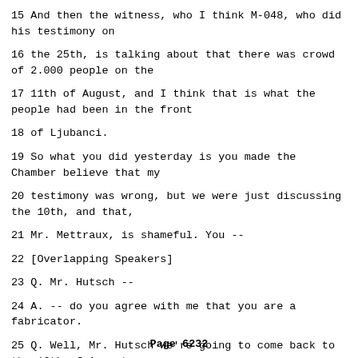15 And then the witness, who I think M-048, who did his testimony on
16 the 25th, is talking about that there was crowd of 2.000 people on the
17 11th of August, and I think that is what the people had been in the front
18 of Ljubanci.
19 So what you did yesterday is you made the Chamber believe that my
20 testimony was wrong, but we were just discussing the 10th, and that,
21 Mr. Mettraux, is shameful. You --
22 [Overlapping Speakers]
23 Q. Mr. Hutsch --
24 A. -- do you agree with me that you are a fabricator.
25 Q. Well, Mr. Hutsch we're going to come back to the 12th of August
Page 6232